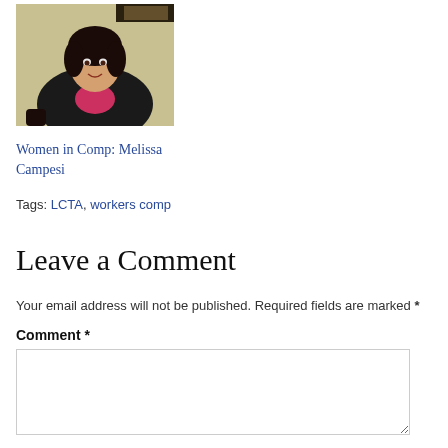[Figure (photo): Photo of a woman (Melissa Campesi) wearing a black jacket and pink shirt, seated in front of a light-colored wall with a partially visible framed image in the background.]
Women in Comp: Melissa Campesi
Tags: LCTA, workers comp
Leave a Comment
Your email address will not be published. Required fields are marked *
Comment *